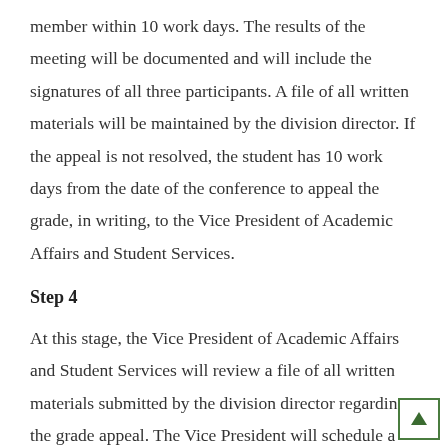member within 10 work days. The results of the meeting will be documented and will include the signatures of all three participants. A file of all written materials will be maintained by the division director. If the appeal is not resolved, the student has 10 work days from the date of the conference to appeal the grade, in writing, to the Vice President of Academic Affairs and Student Services.
Step 4
At this stage, the Vice President of Academic Affairs and Student Services will review a file of all written materials submitted by the division director regarding the grade appeal. The Vice President will schedule a meeting with the student, faculty and division director to review the materials and discuss the appeal within 10 work days. The